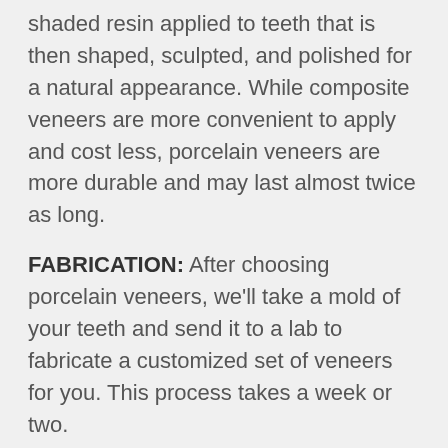shaded resin applied to teeth that is then shaped, sculpted, and polished for a natural appearance. While composite veneers are more convenient to apply and cost less, porcelain veneers are more durable and may last almost twice as long.
FABRICATION: After choosing porcelain veneers, we'll take a mold of your teeth and send it to a lab to fabricate a customized set of veneers for you. This process takes a week or two.
BONDING: To apply the veneers to your teeth, we place them with water or glycerin. We do final adjustments for a close and fit and then...